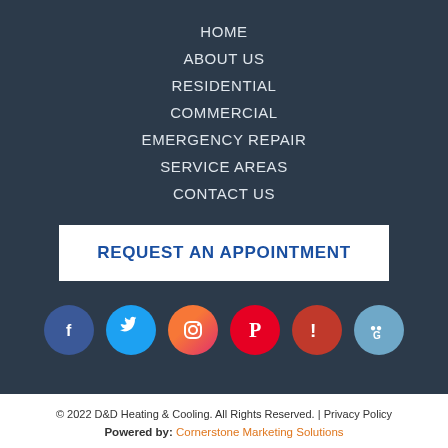HOME
ABOUT US
RESIDENTIAL
COMMERCIAL
EMERGENCY REPAIR
SERVICE AREAS
CONTACT US
REQUEST AN APPOINTMENT
[Figure (infographic): Row of 6 social media icons: Facebook (dark blue circle), Twitter (light blue circle), Instagram (orange-pink gradient circle), Pinterest (red circle), Yelp (dark red circle), Google Business (steel blue circle)]
© 2022 D&D Heating & Cooling. All Rights Reserved. | Privacy Policy
Powered by: Cornerstone Marketing Solutions